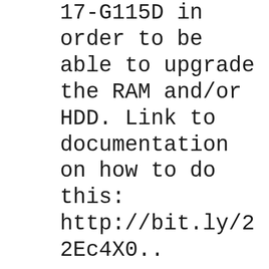17-G115D in order to be able to upgrade the RAM and/or HDD. Link to documentation on how to do this: http://bit.ly/22Ec4X0..
Manuals or user guides for your HP Pavilion Notebook - 17-g015dx (ENERGY STAR) - HP recommends that you begin the process of upgrading to Windows 10 if your computer has been tested by HP. For more information, click here. - If your computer is not compatible for upgrade to Windows 10, we can help to find the perfect computer for you. Check our Weekly deals! hp-concentra-wrapper-portlet Actions ${title} Loading... HP Pavilion 17-e118dx Notebook PC Product Specifications